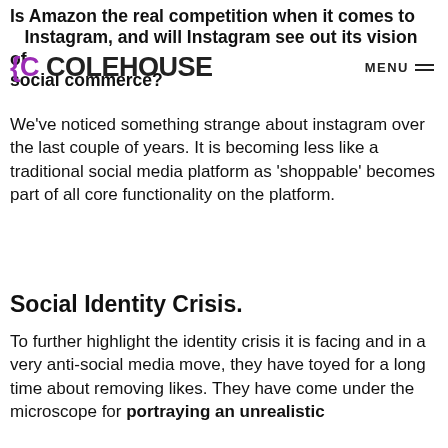Is Amazon the real competition when it comes to Instagram, and will Instagram see out its vision of social commerce?
C COLEHOUSE   MENU
We've noticed something strange about instagram over the last couple of years. It is becoming less like a traditional social media platform as 'shoppable' becomes part of all core functionality on the platform.
Social Identity Crisis.
To further highlight the identity crisis it is facing and in a very anti-social media move, they have toyed for a long time about removing likes. They have come under the microscope for portraying an unrealistic